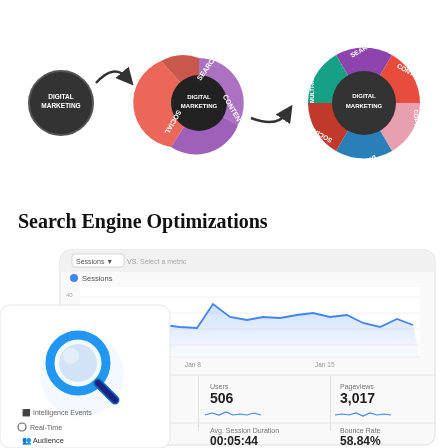[Figure (infographic): Two digital marketing wheel diagrams showing progression from 3-segment to 6-segment donut chart with arrow. Left shows small standalone 'Digital Marketing' circle. Middle shows 3-segment wheel (Search, Content, Social). Right shows 6-segment wheel (Search, Content, Copywriting, Design, Social, Multi-media) with arrow connecting them.]
Search Engine Optimizations
[Figure (screenshot): Screenshot of Google Analytics dashboard showing Sessions line chart (Jan 8 to Jan 15), with sidebar showing Intelligence Events, Real-Time, Audience, Overview, Demographics, Interests. Metrics: Sessions 1,001 | Users 506 | Pageviews 3,017 | Pages/Session 3.01 | Avg. Session Duration 00:05:44 | Bounce Rate 58.84%. A large blue magnifying glass icon overlays the left side.]